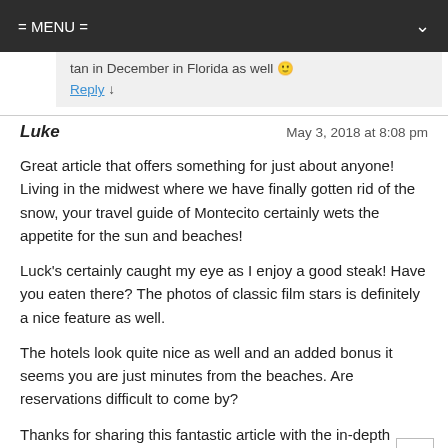= MENU =
tan in December in Florida as well 🙂
Reply ↓
Luke   May 3, 2018 at 8:08 pm
Great article that offers something for just about anyone! Living in the midwest where we have finally gotten rid of the snow, your travel guide of Montecito certainly wets the appetite for the sun and beaches!
Luck's certainly caught my eye as I enjoy a good steak! Have you eaten there? The photos of classic film stars is definitely a nice feature as well.
The hotels look quite nice as well and an added bonus it seems you are just minutes from the beaches. Are reservations difficult to come by?
Thanks for sharing this fantastic article with the in-depth